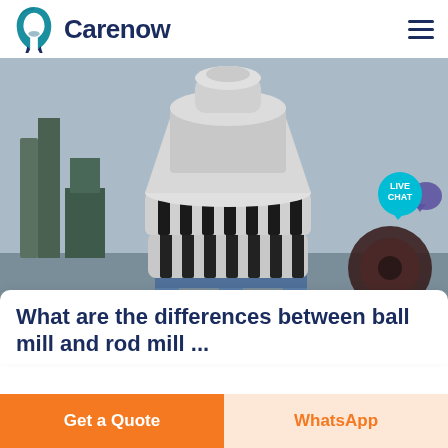[Figure (logo): Carenow logo with teal leaf/tooth icon and dark blue bold text 'Carenow']
[Figure (photo): Industrial cone crusher or spring cone crusher machine in a factory/workshop setting, large multi-tiered grey metallic machinery on a blue steel frame, with watermark text visible]
What are the differences between ball mill and rod mill ...
Get a Quote
WhatsApp